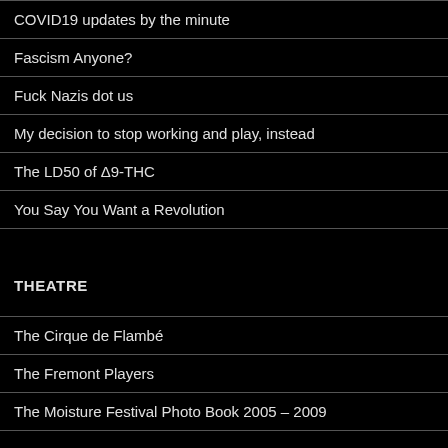COVID19 updates by the minute
Fascism Anyone?
Fuck Nazis dot us
My decision to stop working and play, instead
The LD50 of Δ9-THC
You Say You Want a Revolution
THEATRE
The Cirque de Flambé
The Fremont Players
The Moisture Festival Photo Book 2005 – 2009